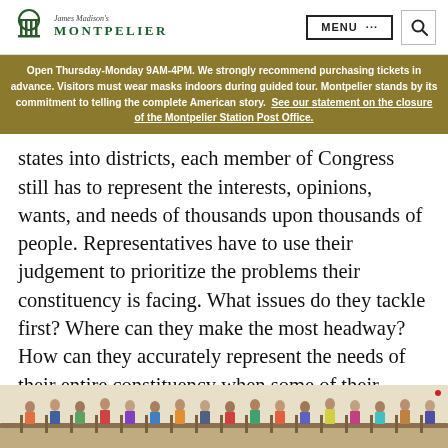James Madison's Montpelier — navigation header with MENU and search
Open Thursday-Monday 9AM-4PM. We strongly recommend purchasing tickets in advance. Visitors must wear masks indoors during guided tour. Montpelier stands by its commitment to telling the complete American story. See our statement on the closure of the Montpelier Station Post Office.
states into districts, each member of Congress still has to represent the interests, opinions, wants, and needs of thousands upon thousands of people. Representatives have to use their judgement to prioritize the problems their constituency is facing. What issues do they tackle first? Where can they make the most headway? How can they accurately represent the needs of their entire constituency when some of their constituents hold diametrically-opposing views?
[Figure (photo): Indoor photo of a crowd of visitors standing along a railing/balcony inside a building, viewed from below at an angle.]